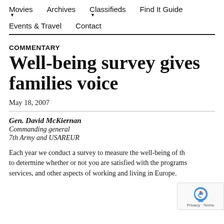Movies ▼   Archives   Classifieds ▼   Find It Guide   Events & Travel   Contact
COMMENTARY
Well-being survey gives families voice
May 18, 2007
Gen. David McKiernan
Commanding general
7th Army and USAREUR
Each year we conduct a survey to measure the well-being of the to determine whether or not you are satisfied with the programs services, and other aspects of working and living in Europe.